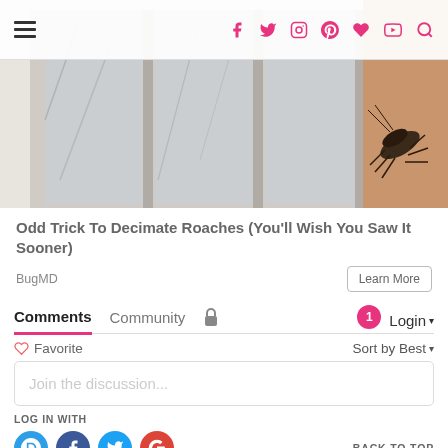Navigation bar with hamburger menu and social icons (Facebook, Twitter, Instagram, Pinterest, Heart, YouTube, Search)
[Figure (photo): Partial view of a cockroach on a windowsill/door frame, overlaid with the website navigation bar]
Odd Trick To Decimate Roaches (You'll Wish You Saw It Sooner)
BugMD
Comments
Community
Login
Favorite
Sort by Best
Join the discussion...
LOG IN WITH
BACK TO TOP